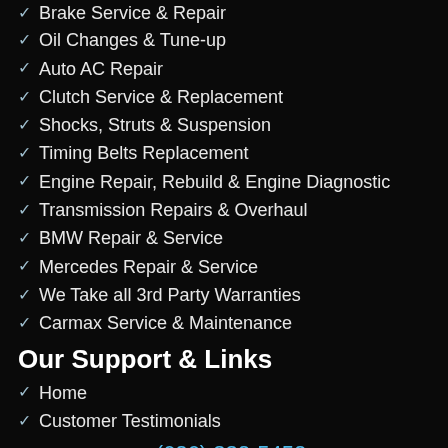Brake Service & Repair
Oil Changes & Tune-up
Auto AC Repair
Clutch Service & Replacement
Shocks, Struts & Suspension
Timing Belts Replacement
Engine Repair, Rebuild & Engine Diagnostic
Transmission Repairs & Overhaul
BMW Repair & Service
Mercedes Repair & Service
We Take all 3rd Party Warranties
Carmax Service & Maintenance
Our Support & Links
Home
Customer Testimonials
CALL TODAY:  (626) 332-5452